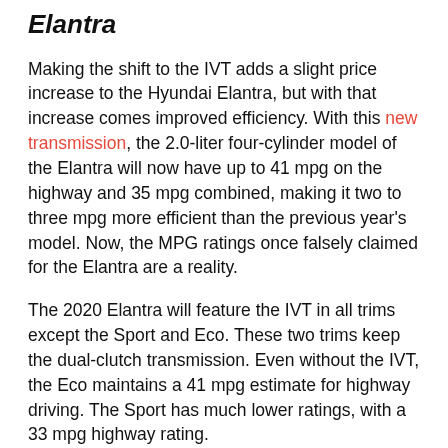Elantra
Making the shift to the IVT adds a slight price increase to the Hyundai Elantra, but with that increase comes improved efficiency. With this new transmission, the 2.0-liter four-cylinder model of the Elantra will now have up to 41 mpg on the highway and 35 mpg combined, making it two to three mpg more efficient than the previous year's model. Now, the MPG ratings once falsely claimed for the Elantra are a reality.
The 2020 Elantra will feature the IVT in all trims except the Sport and Eco. These two trims keep the dual-clutch transmission. Even without the IVT, the Eco maintains a 41 mpg estimate for highway driving. The Sport has much lower ratings, with a 33 mpg highway rating.